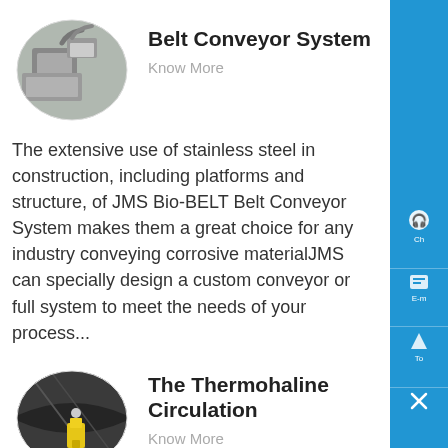[Figure (photo): Oval-cropped photo of a belt conveyor system with stainless steel machinery]
Belt Conveyor System
Know More
The extensive use of stainless steel in construction, including platforms and structure, of JMS Bio-BELT Belt Conveyor System makes them a great choice for any industry conveying corrosive materialJMS can specially design a custom conveyor or full system to meet the needs of your process...
[Figure (photo): Oval-cropped photo of thermohaline circulation equipment in a dark environment with yellow equipment]
The Thermohaline Circulation
Know More
08-10-2009 0183 32 The Thermohaline Circulation - The Great Ocean Conveyor Belt The oceans are mostly